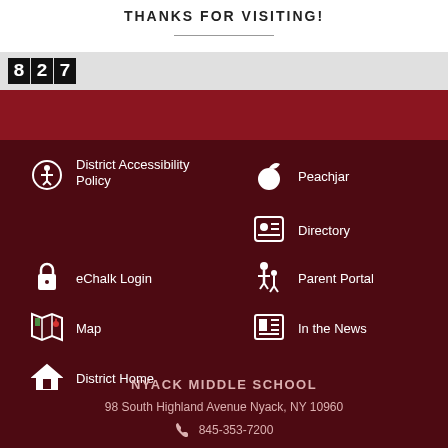THANKS FOR VISITING!
827
District Accessibility Policy
Peachjar
eChalk Login
Directory
Map
Parent Portal
District Home
In the News
NYACK MIDDLE SCHOOL
98 South Highland Avenue Nyack, NY 10960
845-353-7200